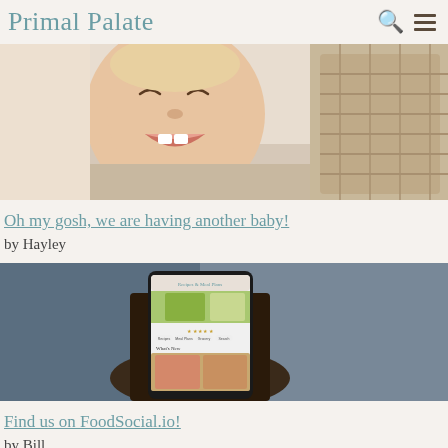Primal Palate
[Figure (photo): Smiling baby/toddler laughing, wearing a pink shirt, sitting near a woven basket or chair]
Oh my gosh, we are having another baby!
by Hayley
[Figure (photo): Person holding a smartphone displaying the Primal Palate app with Recipes & Meal Plans screen, blurred blue background]
Find us on FoodSocial.io!
by Bill